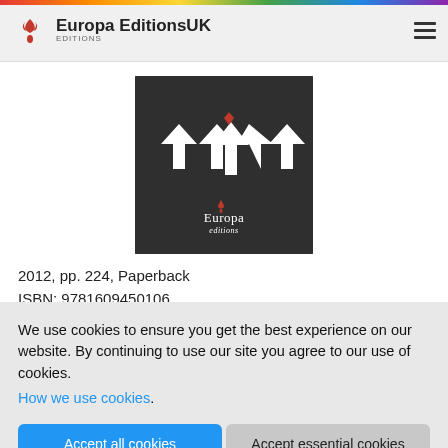Europa Editions UK
[Figure (photo): Book cover on dark background with white upward arrows and Europa editions logo]
2012, pp. 224, Paperback
ISBN: 9781609450106
We use cookies to ensure you get the best experience on our website. By continuing to use our site you agree to our use of cookies. How we use cookies.